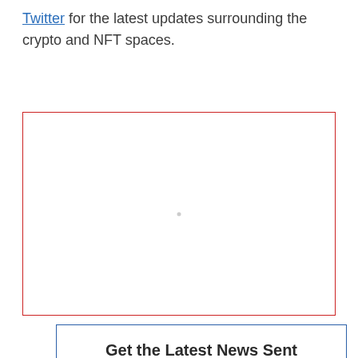Twitter for the latest updates surrounding the crypto and NFT spaces.
[Figure (other): Empty red-bordered rectangular box, possibly a placeholder image or embedded media area with a small gray dot in the center.]
Get the Latest News Sent to Your Inbox
(Plus Exclusive Tech Deals and C...